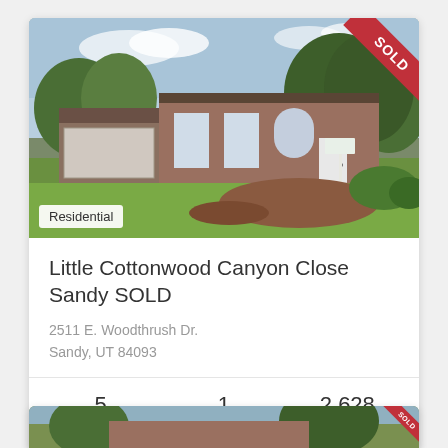[Figure (photo): Exterior photo of a mid-century modern brick residential home with attached garage, large lawn, landscaped flower bed, and a SOLD ribbon in the top-right corner.]
Residential
Little Cottonwood Canyon Close Sandy SOLD
2511 E. Woodthrush Dr.
Sandy, UT 84093
| Beds | Baths | Sq ft |
| --- | --- | --- |
| 5 | 1 | 2,628 |
[Figure (photo): Partially visible exterior photo of another residential property with a SOLD ribbon.]